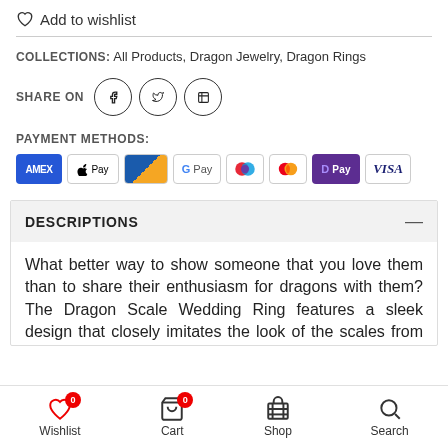Add to wishlist
COLLECTIONS: All Products, Dragon Jewelry, Dragon Rings
SHARE ON (Facebook, Twitter, Pinterest icons)
PAYMENT METHODS: AMEX, Apple Pay, Bancontact, G Pay, Maestro, Mastercard, D Pay, VISA
DESCRIPTIONS
What better way to show someone that you love them than to share their enthusiasm for dragons with them? The Dragon Scale Wedding Ring features a sleek design that
Wishlist 0  Cart 0  Shop  Search